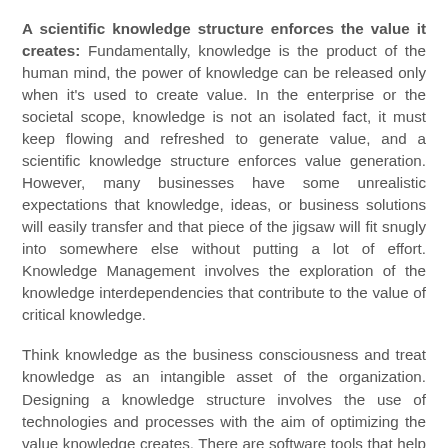A scientific knowledge structure enforces the value it creates: Fundamentally, knowledge is the product of the human mind, the power of knowledge can be released only when it's used to create value. In the enterprise or the societal scope, knowledge is not an isolated fact, it must keep flowing and refreshed to generate value, and a scientific knowledge structure enforces value generation. However, many businesses have some unrealistic expectations that knowledge, ideas, or business solutions will easily transfer and that piece of the jigsaw will fit snugly into somewhere else without putting a lot of effort. Knowledge Management involves the exploration of the knowledge interdependencies that contribute to the value of critical knowledge.
Think knowledge as the business consciousness and treat knowledge as an intangible asset of the organization. Designing a knowledge structure involves the use of technologies and processes with the aim of optimizing the value knowledge creates. There are software tools that help the gathering of tacit knowledge and some are very powerful.